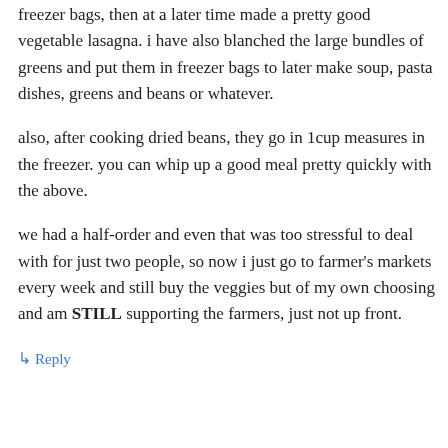freezer bags, then at a later time made a pretty good vegetable lasagna. i have also blanched the large bundles of greens and put them in freezer bags to later make soup, pasta dishes, greens and beans or whatever.
also, after cooking dried beans, they go in 1cup measures in the freezer. you can whip up a good meal pretty quickly with the above.
we had a half-order and even that was too stressful to deal with for just two people, so now i just go to farmer's markets every week and still buy the veggies but of my own choosing and am STILL supporting the farmers, just not up front.
↳ Reply